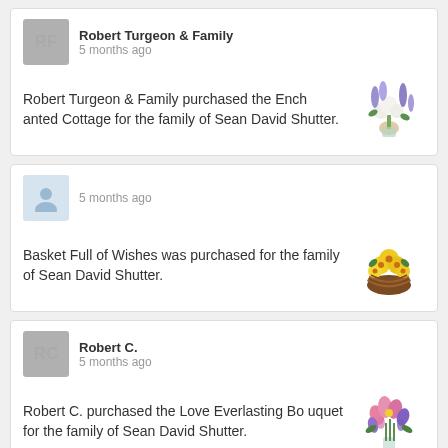Robert Turgeon & Family
5 months ago
Robert Turgeon & Family purchased the Enchanted Cottage for the family of Sean David Shutter.
5 months ago
Basket Full of Wishes was purchased for the family of Sean David Shutter.
Robert C.
5 months ago
Robert C. purchased the Love Everlasting Bouquet for the family of Sean David Shutter.